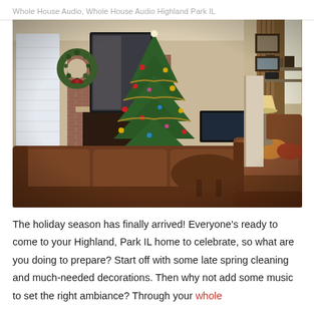Whole House Audio, Whole House Audio Highland Park IL
[Figure (photo): A festive holiday living room with brown leather sofas, a decorated Christmas tree with a star topper, a brick fireplace with a wreath above it, a large dark mirror, and a flat-screen TV mounted on the wall. The room has high ceilings and warm beige/tan walls.]
The holiday season has finally arrived! Everyone’s ready to come to your Highland, Park IL home to celebrate, so what are you doing to prepare? Start off with some late spring cleaning and much-needed decorations. Then why not add some music to set the right ambiance? Through your whole